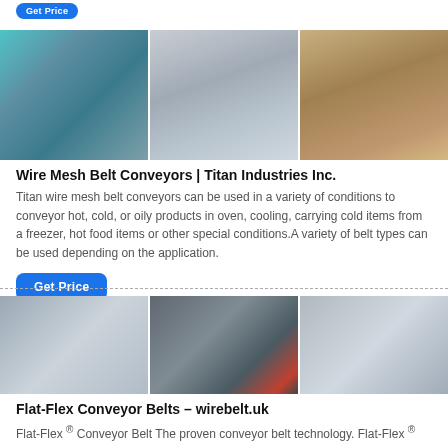[Figure (photo): Three industrial images: teal conveyor system outdoors, gray metal grid conveyor, large industrial warehouse interior]
Wire Mesh Belt Conveyors | Titan Industries Inc.
Titan wire mesh belt conveyors can be used in a variety of conditions to conveyor hot, cold, or oily products in oven, cooling, carrying cold items from a freezer, hot food items or other special conditions.A variety of belt types can be used depending on the application.
[Figure (photo): Three industrial images: gray metal panel close-up with bolt, dark industrial crusher/mill machine, gray inclined conveyor belt]
Flat-Flex Conveyor Belts – wirebelt.uk
Flat-Flex ® Conveyor Belt The proven conveyor belt technology. Flat-Flex ® belts have over 85 years of trusted performance in the